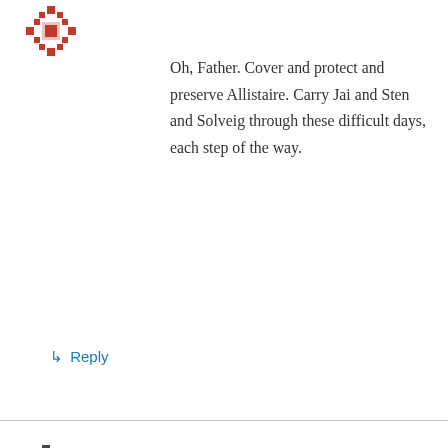[Figure (illustration): Red decorative snowflake/cross avatar icon, top left]
Oh, Father. Cover and protect and preserve Allistaire. Carry Jai and Sten and Solveig through these difficult days, each step of the way.
↳ Reply
[Figure (illustration): Dark pixelated/mosaic avatar icon for Joette mcintosh]
Joette mcintosh on June 1, 2013 at 1:20 pm
Oh dear Lord Jesus, Abba God, Holy Spirit, come be our Banner, our Shield, Our HighTower, our Redeemer, please please Abba Redeem this little life from the enemy of death. Send diese, and death far far, away from Allistaire hold, up, build up, all the loved ones. Thank you for everything and everyone youve sent to help, , I